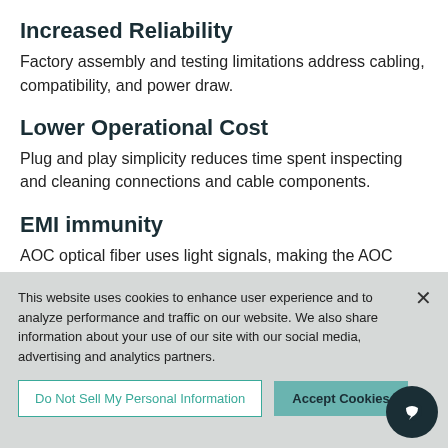Increased Reliability
Factory assembly and testing limitations address cabling, compatibility, and power draw.
Lower Operational Cost
Plug and play simplicity reduces time spent inspecting and cleaning connections and cable components.
EMI immunity
AOC optical fiber uses light signals, making the AOC
This website uses cookies to enhance user experience and to analyze performance and traffic on our website. We also share information about your use of our site with our social media, advertising and analytics partners.
Do Not Sell My Personal Information
Accept Cookies